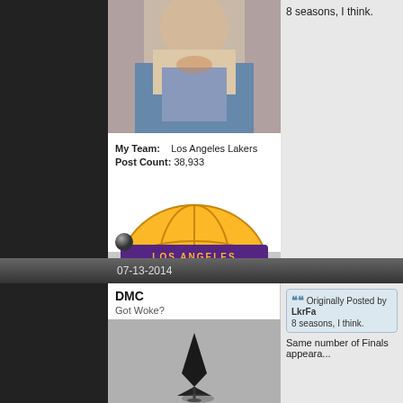[Figure (photo): Partial view of a person's torso, cropped user avatar image at the top]
My Team:    Los Angeles Lakers
Post Count:  38,933
[Figure (logo): Los Angeles Lakers official NBA logo with gold basketball and purple/gold text]
8 seasons, I think.
[Figure (other): Small circular dark sphere/button, online status indicator]
07-13-2014
DMC
Got Woke?
[Figure (photo): Black and white photograph of what appears to be a spinning top or gyroscope shape]
Originally Posted by LkrFa...
8 seasons, I think.
Same number of Finals appeara...